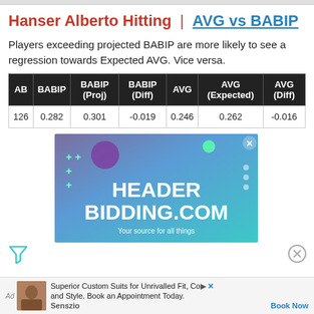Hanser Alberto Hitting | AVG vs BABIP
Players exceeding projected BABIP are more likely to see a regression towards Expected AVG. Vice versa.
| AB | BABIP | BABIP (Proj) | BABIP (Diff) | AVG | AVG (Expected) | AVG (Diff) |
| --- | --- | --- | --- | --- | --- | --- |
| 126 | 0.282 | 0.301 | -0.019 | 0.246 | 0.262 | -0.016 |
[Figure (illustration): Advertisement banner for headerbidding.com with gradient purple-to-teal background, plus signs, decorative circles, and text 'HEADER BIDDING.COM Your source for all things']
[Figure (illustration): Bottom advertisement bar for Senszio custom suits with small photo, text 'Superior Custom Suits for Unrivalled Fit, Co and Style. Book an Appointment Today.' and Book Now link]